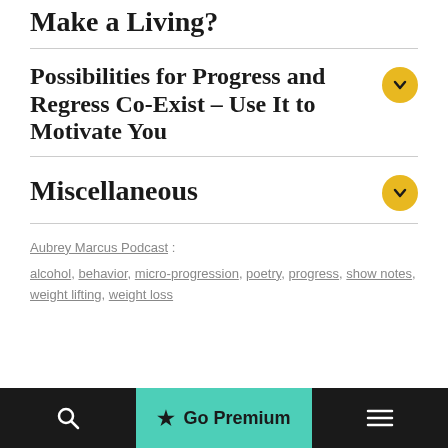Make a Living?
Possibilities for Progress and Regress Co-Exist – Use It to Motivate You
Miscellaneous
Aubrey Marcus Podcast :
alcohol, behavior, micro-progression, poetry, progress, show notes, weight lifting, weight loss
Search   ★ Go Premium   Menu